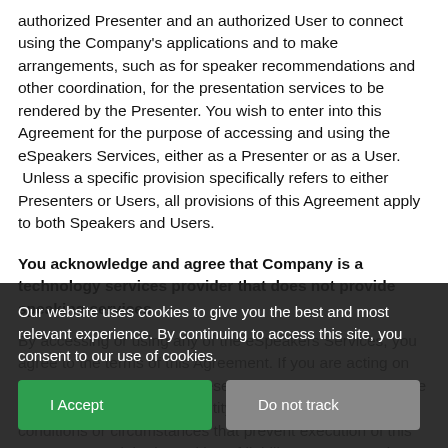authorized Presenter and an authorized User to connect using the Company's applications and to make arrangements, such as for speaker recommendations and other coordination, for the presentation services to be rendered by the Presenter. You wish to enter into this Agreement for the purpose of accessing and using the eSpeakers Services, either as a Presenter or as a User. Unless a specific provision specifically refers to either Presenters or Users, all provisions of this Agreement apply to both Speakers and Users.
You acknowledge and agree that Company is a technology services provider that does not provide speaking services.
By accessing or using any of the eSpeakers Services, you agree to the terms of this Agreement. If you are acting on behalf of an entity, you represent and warrant that you have the authority to bind such entity and that there are no conditions or circumstances that prevent execution of this Agreement and the imposition of liability upon you and your company or other entity. In such event, the use of the word
Our website uses cookies to give you the best and most relevant experience. By continuing to access this site, you consent to our use of cookies.
I Accept
Do not track